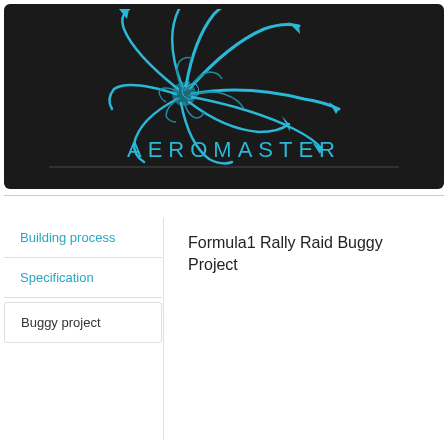[Figure (logo): Aeromaster logo on dark background: cyan/teal swirling turbine/fan blade design with arrows flowing outward, and 'AEROMASTER' text in cyan below with a horizontal line separator]
Building process
Specification
Buggy project
Formula1 Rally Raid Buggy Project